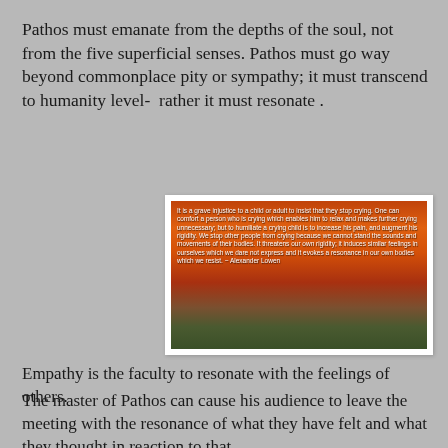Pathos must emanate from the depths of the soul, not from the five superficial senses. Pathos must go way beyond commonplace pity or sympathy; it must transcend to humanity level-  rather it must resonate .
[Figure (photo): A sunset landscape photograph of a hillside town with warm orange sky, overlaid with a quote by Alexander Lowen about crying, comfort, and emotional resonance.]
Empathy is the faculty to resonate with the feelings of others.
The master of Pathos can cause his audience to leave the meeting with the resonance of what they have felt and what they thought in reaction to that.